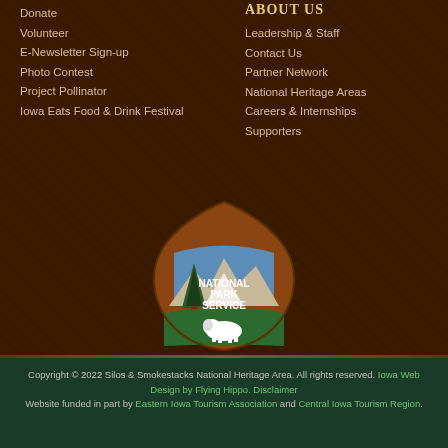Donate
Volunteer
E-Newsletter Sign-up
Photo Contest
Project Pollinator
Iowa Eats Food & Drink Festival
ABOUT US
Leadership & Staff
Contact Us
Partner Network
National Heritage Areas
Careers & Internships
Supporters
[Figure (logo): National Park Service arrowhead logo with trees, mountains, bison, and text reading NATIONAL PARK SERVICE]
Copyright © 2022 Silos & Smokestacks National Heritage Area. All rights reserved. Iowa Web Design by Flying Hippo. Disclaimer Website funded in part by Eastern Iowa Tourism Association and Central Iowa Tourism Region.